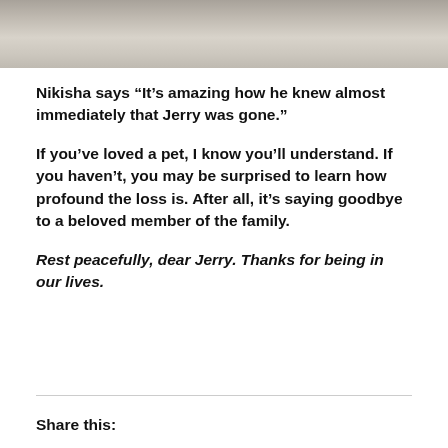[Figure (photo): Top portion of a photo showing a fluffy light-colored animal (likely a cat or dog) on a soft surface, cropped at the top of the page]
Nikisha says “It’s amazing how he knew almost immediately that Jerry was gone.”
If you’ve loved a pet, I know you’ll understand. If you haven’t, you may be surprised to learn how profound the loss is. After all, it’s saying goodbye to a beloved member of the family.
Rest peacefully, dear Jerry. Thanks for being in our lives.
Share this: